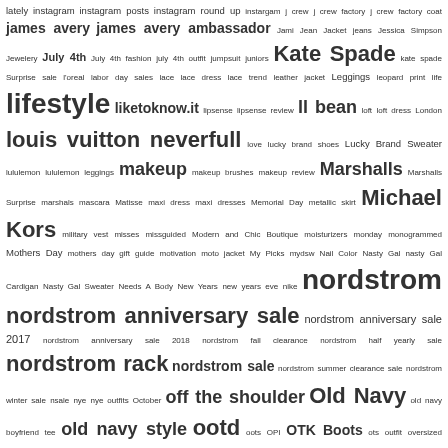[Figure (other): Tag cloud / word cloud listing fashion, lifestyle, and shopping related keywords in varying font sizes indicating frequency or popularity. Keywords include: lately, instagram, instagram posts, instagram round up, instargam, j crew, j crew factory, j crew factory coat, james avery, james avery ambassador, Jami Jean Jacket, jeans, Jessica Simpson, Jewelery, July 4th, July 4th fashion, july 4th outfit, jumpsuit, juniors, Kate Spade, kate spade Surprise sale, l'oreal, labor day sales, lace, lace dress, lace trend, leather jacket, Leggings, leopard print, life, lifestyle, liketoknow.it, lipsense, lipsense review, ll bean, loft, loft dress, London, louis vuitton neverfull, love, lucky brand shoes, Lucky Brand Sweater, lululemon, lululemon leggings, makeup, makeup brushes, makeup review, Marshalls, Marshalls Surprise, marshals, mascara, Matisse, maxi dress, maxi dresses, Memorial Day, metallic skirt, Michael Kors, military vest, misses, missguided, Modern and Chic Boutique, moisturizers, monday, monogrammed, Mothers Day, mothers day gift guide, motivation, moto jacket, My Picks, mydsw, Nail Color, Nasty Gal, nasty Gal Cardigan, Nasty Gal Sweater, Needs A Body, New Years, new years eve, nike, nordstrom, nordstrom anniversary sale, nordstrom anniversary sale 2017, nordstrom anniversary sale 2018, nordstrom fall clearance, nordstrom half yearly sale, nordstrom rack, nordstrom sale, nordstrom summer clearance sale, nordstrom winter sale, nsale, nye, nye outfits, October, off the shoulder, Old Navy, old navy boyfriend tee, old navy style, ootd, oots, OPI, OTK Boots, ots, outfit, oversized cardigan, oversized demin jacket, palazzo pants, palm leaf print, palm print, peacoat, peplum, picks, pink, pink coat, pinterest, Piper Street, plaid, polyvore, pool day, product review, puffer vest, pumpkin patch, pumpkins, purchases, quotes, rainy day outfit, Rebecca Minkoff, recipe, red, red booties, red sweater, reebok, ripped jeans, round up, roundup, ruffle, ruffle sleeve sweater, ruffles, safe teeth whitening]